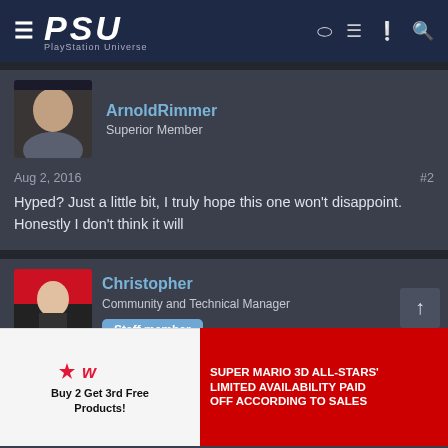PSU PlayStation Universe
ArnoldRimmer
Superior Member
Aug 2, 2016   #2
Hyped? Just a little bit, I truly hope this one won't disappoint. Honestly I don't think it will
Christopher
Community and Technical Manager  Staff member
Aug 2, 2016   #3
I don't think the people who understand w... disappointed. Personally, I'm stoked abo... Galaxy which is far more limited than No... same gam... trading, e... I'm glad h...
[Figure (screenshot): Advertisement: Walgreens Buy 2 Get 3rd Free Products, and Super Mario 3D All-Stars Limited Availability Paid Off According to Sales]